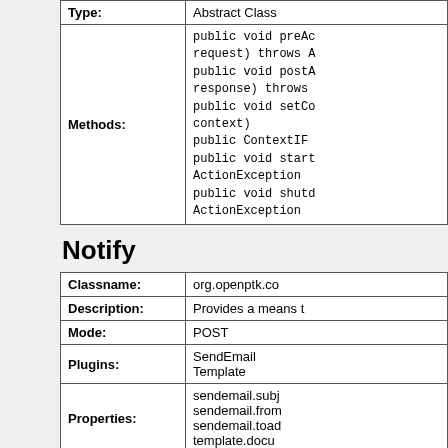| Type: | Abstract Class |
| Methods: | public void preAc
request) throws A
public void postA
response) throws
public void setCo
context)
public ContextIF
public void start
ActionException
public void shutd
ActionException |
Notify
| Classname: | org.openptk.co |
| Description: | Provides a means t |
| Mode: | POST |
| Plugins: | SendEmail
Template |
| Properties: | sendemail.subj
sendemail.from
sendemail.toad
template.docu |